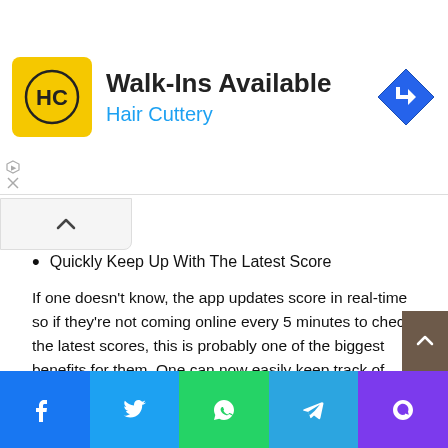[Figure (screenshot): Hair Cuttery advertisement banner with yellow logo showing 'HC', text 'Walk-Ins Available' and 'Hair Cuttery' in blue, and a blue diamond turn-right icon on the right]
Quickly Keep Up With The Latest Score
If one doesn't know, the app updates score in real-time so if they're not coming online every 5 minutes to check the latest scores, this is probably one of the biggest benefits for them. One can now easily keep track of everything happening on an ongoing sporting event without even looking at their phone!
Users Can Make Money Even If They Miss A Game or Match Online Coverage